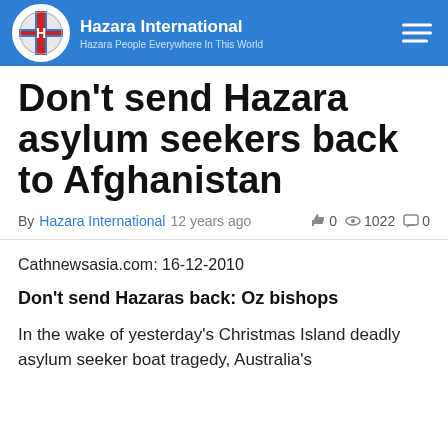Hazara International — Hazara People Everywhere In This World
Don't send Hazara asylum seekers back to Afghanistan
By Hazara International 12 years ago   👍 0   👁 1022   💬 0
Cathnewsasia.com: 16-12-2010
Don't send Hazaras back: Oz bishops
In the wake of yesterday's Christmas Island deadly asylum seeker boat tragedy, Australia's